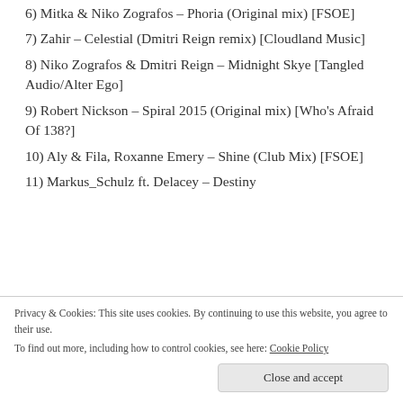6) Mitka & Niko Zografos – Phoria (Original mix) [FSOE]
7) Zahir – Celestial (Dmitri Reign remix) [Cloudland Music]
8) Niko Zografos & Dmitri Reign – Midnight Skye [Tangled Audio/Alter Ego]
9) Robert Nickson – Spiral 2015 (Original mix) [Who's Afraid Of 138?]
10) Aly & Fila, Roxanne Emery – Shine (Club Mix) [FSOE]
11) Markus_Schulz ft. Delacey – Destiny
Privacy & Cookies: This site uses cookies. By continuing to use this website, you agree to their use. To find out more, including how to control cookies, see here: Cookie Policy